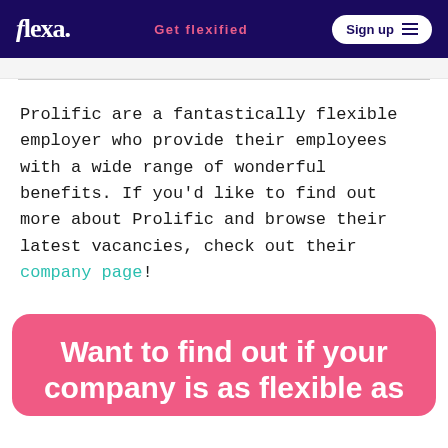flexa. | Get flexified | Sign up
Prolific are a fantastically flexible employer who provide their employees with a wide range of wonderful benefits. If you'd like to find out more about Prolific and browse their latest vacancies, check out their company page!
Want to find out if your company is as flexible as